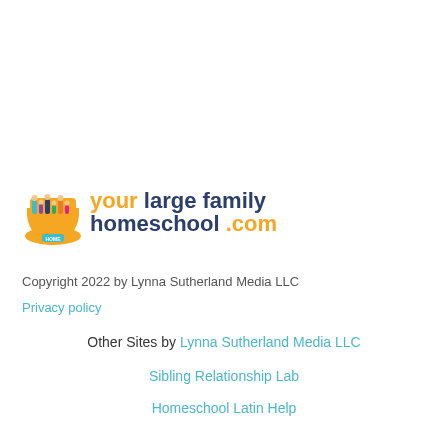[Figure (logo): Your Large Family Homeschool .com logo with illustrated group of people inside an orange container shape, text reads 'your large family homeschool .com']
Copyright 2022 by Lynna Sutherland Media LLC
Privacy policy
Other Sites by Lynna Sutherland Media LLC
Sibling Relationship Lab
Homeschool Latin Help